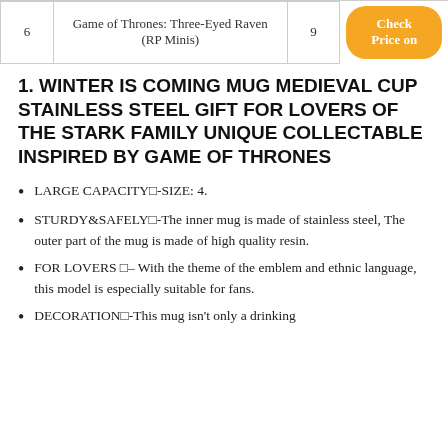|  |  |  |  |
| --- | --- | --- | --- |
| 6 | Game of Thrones: Three-Eyed Raven (RP Minis) | 9 | Check Price on |
1. WINTER IS COMING MUG MEDIEVAL CUP STAINLESS STEEL GIFT FOR LOVERS OF THE STARK FAMILY UNIQUE COLLECTABLE INSPIRED BY GAME OF THRONES
LARGE CAPACITY□-SIZE: 4.
STURDY&SAFELY□-The inner mug is made of stainless steel, The outer part of the mug is made of high quality resin.
FOR LOVERS □– With the theme of the emblem and ethnic language, this model is especially suitable for fans.
DECORATION□-This mug isn't only a drinking